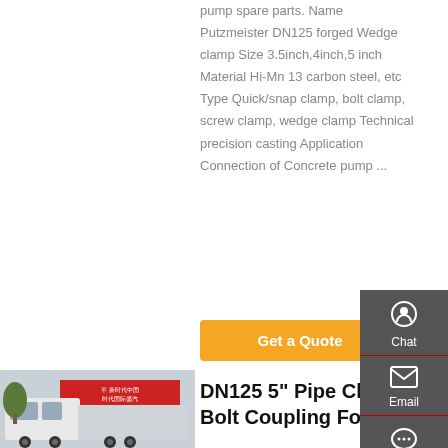pump spare parts. Name Putzmeister DN125 forged Wedge clamp Size 3.5inch,4inch,5 inch Material Hi-Mn 13 carbon steel, etc Type Quick/snap clamp, bolt clamp, screw clamp, wedge clamp Technical precision casting Application Connection of Concrete pump ...
Get a Quote
[Figure (photo): Photo of a white heavy truck with Chinese text banner in red in the background]
DN125 5" Pipe Clamp Bolt Coupling For